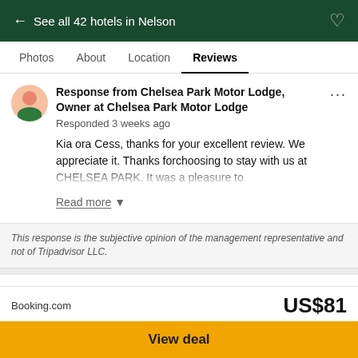← See all 42 hotels in Nelson
Photos  About  Location  Reviews
Response from Chelsea Park Motor Lodge, Owner at Chelsea Park Motor Lodge
Responded 3 weeks ago
Kia ora Cess, thanks for your excellent review. We appreciate it. Thanks forchoosing to stay with us at CHELSEA PARK. It was a pleasure to ...
Read more ▼
This response is the subjective opinion of the management representative and not of Tripadvisor LLC.
Kiwichic2015
wrote a review Aug 2022
Christchurch, New Zealand
Booking.com
US$81
View deal